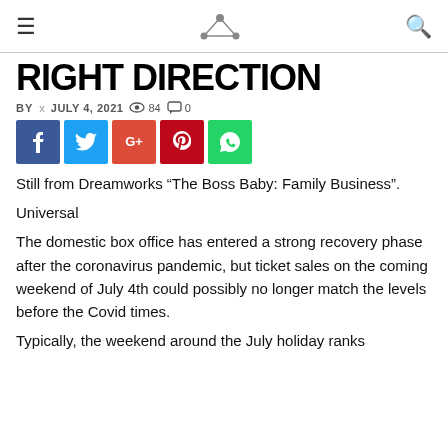RIGHT DIRECTION
BY  x  JULY 4, 2021   84   0
[Figure (other): Social media share buttons: Facebook, Twitter, Google+, Pinterest, WhatsApp]
Still from Dreamworks “The Boss Baby: Family Business”.
Universal
The domestic box office has entered a strong recovery phase after the coronavirus pandemic, but ticket sales on the coming weekend of July 4th could possibly no longer match the levels before the Covid times.
Typically, the weekend around the July holiday ranks